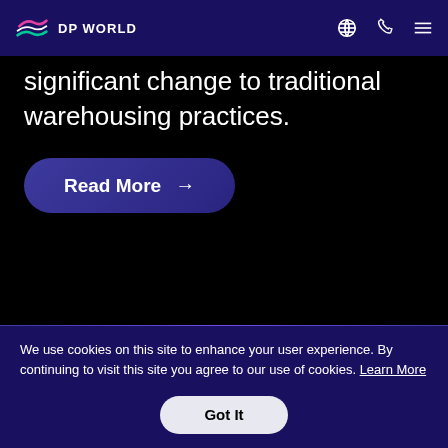DP WORLD
significant change to traditional warehousing practices.
Read More →
We use cookies on this site to enhance your user experience. By continuing to visit this site you agree to our use of cookies. Learn More
Got It